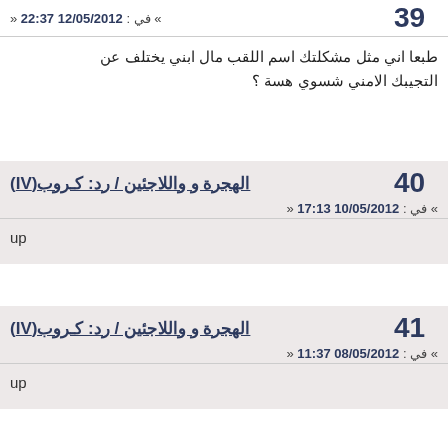39
» في : 12/05/2012 22:37 «
طبعا اني مثل مشكلتك اسم اللقب مال ابني يختلف عن التجيبك الامني شسوي هسة ؟
الهجرة و واللاجئين / رد: كـروب(IV)
» في : 10/05/2012 17:13 «
40
up
الهجرة و واللاجئين / رد: كـروب(IV)
» في : 08/05/2012 11:37 «
41
up